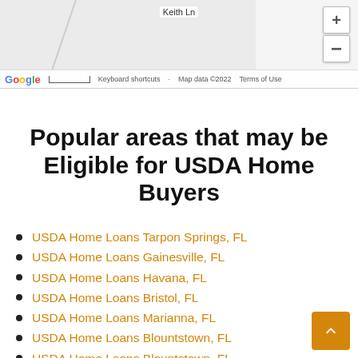[Figure (map): Google Maps screenshot showing Keith Ln road label with zoom controls, Google logo, keyboard shortcuts, map data ©2022, and Terms of Use footer]
Popular areas that may be Eligible for USDA Home Buyers
USDA Home Loans Tarpon Springs, FL
USDA Home Loans Gainesville, FL
USDA Home Loans Havana, FL
USDA Home Loans Bristol, FL
USDA Home Loans Marianna, FL
USDA Home Loans Blountstown, FL
USDA Home Loans Blountstown, FL
USDA Home Loans Chipley, FL